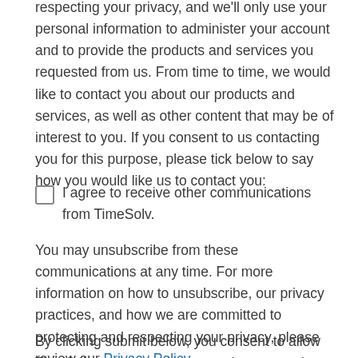respecting your privacy, and we'll only use your personal information to administer your account and to provide the products and services you requested from us. From time to time, we would like to contact you about our products and services, as well as other content that may be of interest to you. If you consent to us contacting you for this purpose, please tick below to say how you would like us to contact you:
I agree to receive other communications from TimeSolv.
You may unsubscribe from these communications at any time. For more information on how to unsubscribe, our privacy practices, and how we are committed to protecting and respecting your privacy, please review our Privacy Policy.
By clicking submit below, you consent to allow TimeSolv to store and process the personal